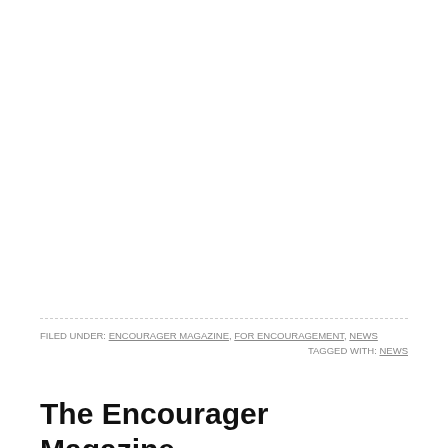FILED UNDER: ENCOURAGER MAGAZINE, FOR ENCOURAGEMENT, NEWS    TAGGED WITH: NEWS
The Encourager Magazine